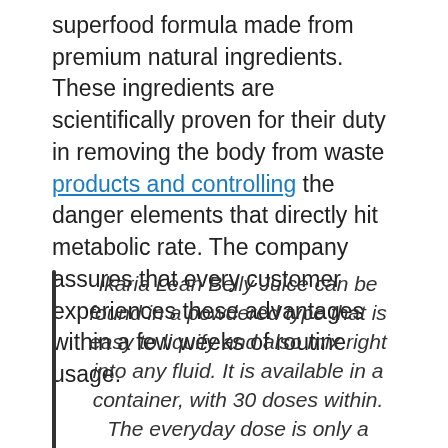superfood formula made from premium natural ingredients. These ingredients are scientifically proven for their duty in removing the body from waste products and controlling the danger elements that directly hit metabolic rate. The company assures that every customer experiences these advantages within a few weeks of routine usage.
Ikaria Lean Belly Juice can be found in a powdered type that is easy to liquify and also mix right into any fluid. It is available in a container, with 30 doses within. The everyday dose is only a scoop, mixed in any kind of beverage of your option. This formula is prepared in a GMP-certified facility using